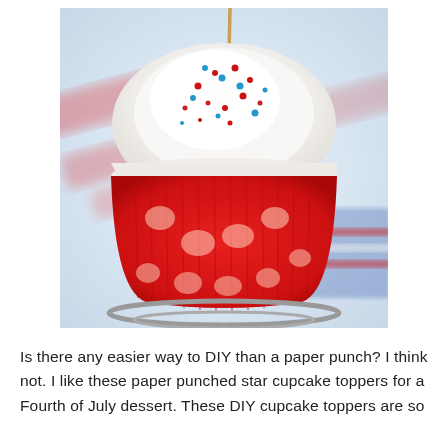[Figure (photo): Close-up photograph of a red polka-dot cupcake liner with white frosting topped with red and blue sprinkles, sitting in a metal cupcake stand. The background shows blurred red and white stripes and an American flag, suggesting a Fourth of July theme.]
Is there any easier way to DIY than a paper punch? I think not. I like these paper punched star cupcake toppers for a Fourth of July dessert. These DIY cupcake toppers are so